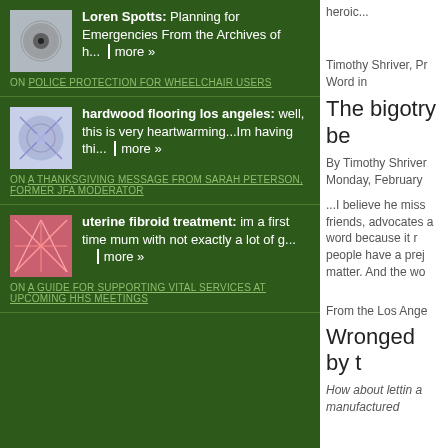Loren Spotts: Planning for Emergencies From the Archives of h... more »
ON POLICE PROTECTION FOR WHEELCHAIR USERS
hardwood flooring los angeles: well, this is very heartwarming...Im having thi... more »
ON A THANKSGIVING MESSAGE FROM SARAH PETERSON, FORMER JFA MODERATOR
uterine fibroid treatment: im a first time mum with not exactly a lot of g... more »
ON A GUIDE FOR SUPPORTING VITAL SERVICES AT UPCOMING HHS MEETINGS
heroic...
Timothy Shriver, Pr Word in
The bigotry be
By Timothy Shriver Monday, February
...I believe he miss friends, advocates a word because it r people have a prej matter. And the wo
From the Los Ange
Wronged by t
How about lettin a manufactured